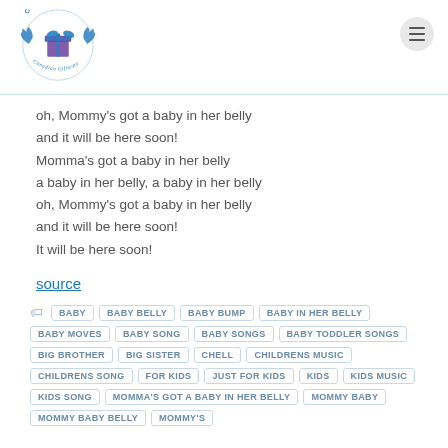Classier Canadian Giftware logo and navigation
oh, Mommy's got a baby in her belly
and it will be here soon!
Momma's got a baby in her belly
a baby in her belly, a baby in her belly
oh, Mommy's got a baby in her belly
and it will be here soon!
It will be here soon!
source
BABY
BABY BELLY
BABY BUMP
BABY IN HER BELLY
BABY MOVES
BABY SONG
BABY SONGS
BABY TODDLER SONGS
BIG BROTHER
BIG SISTER
CHELL
CHILDRENS MUSIC
CHILDRENS SONG
FOR KIDS
JUST FOR KIDS
KIDS
KIDS MUSIC
KIDS SONG
MOMMA'S GOT A BABY IN HER BELLY
MOMMY BABY
MOMMY BABY BELLY
MOMMY'S